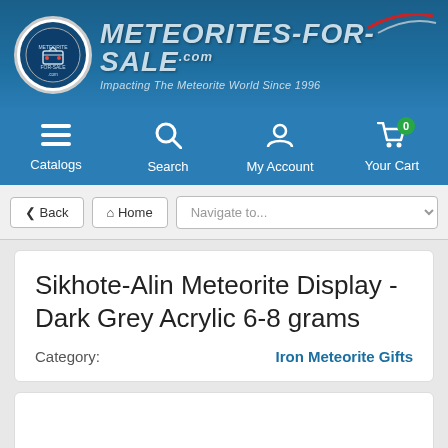[Figure (logo): Meteorites-For-Sale.com website header with circular logo, brand name in metallic blue italic text, tagline 'Impacting The Meteorite World Since 1996', and decorative swoosh graphic]
[Figure (screenshot): Navigation bar with Catalogs, Search, My Account, and Your Cart (badge showing 0) icons on blue background]
[Figure (screenshot): Back navigation bar with Back button, Home button, and Navigate to... dropdown]
Sikhote-Alin Meteorite Display - Dark Grey Acrylic 6-8 grams
Category: Iron Meteorite Gifts